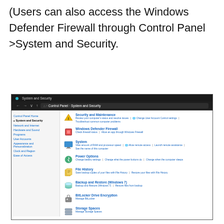(Users can also access the Windows Defender Firewall through Control Panel >System and Security.
[Figure (screenshot): Screenshot of Windows Control Panel showing System and Security page with navigation links on left (Control Panel Home, System and Security, Network and Internet, Hardware and Sound, Programs, User Accounts, Appearance and Personalization, Clock and Region, Ease of Access) and main content showing sections: Security and Maintenance, Windows Defender Firewall, System, Power Options, File History, Backup and Restore (Windows 7), BitLocker Drive Encryption, Storage Spaces, Work Folders, Windows Tools]